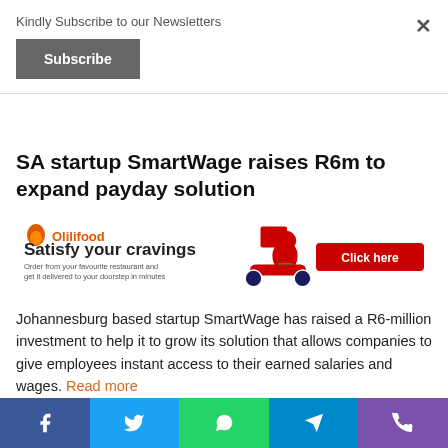Kindly Subscribe to our Newsletters
Subscribe
SA startup SmartWage raises R6m to expand payday solution
[Figure (illustration): OliliFood advertisement banner: Satisfy your cravings — Order from your favourite restaurant and get it delivered to your doorstep in minutes. Shows delivery person on scooter with red box. Click here button.]
Johannesburg based startup SmartWage has raised a R6-million investment to help it to grow its solution that allows companies to give employees instant access to their earned salaries and wages. Read more
Facebook | Twitter | WhatsApp | Telegram | Phone